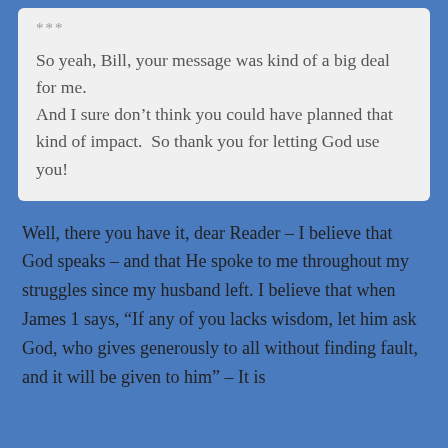***
So yeah, Bill, your message was kind of a big deal for me.
And I sure don’t think you could have planned that kind of impact.  So thank you for letting God use you!
Well, there you have it, dear Reader – I believe that God speaks – and that He spoke to me throughout my struggles since my husband left. I believe that when James 1 says, “If any of you lacks wisdom, let him ask God, who gives generously to all without finding fault, and it will be given to him” – It is